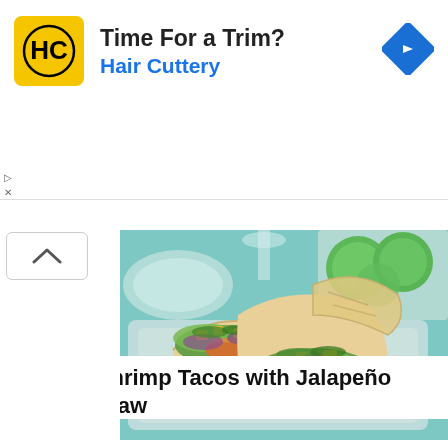[Figure (advertisement): Hair Cuttery advertisement banner with yellow HC logo, text 'Time For a Trim?' in bold and 'Hair Cuttery' in blue, and a blue diamond navigation arrow icon on the right.]
[Figure (photo): Food photo of grilled shrimp tacos with jalapeño mango slaw on a light teal/mint colored plate, garnished with colorful toppings including mango chunks, purple cabbage, and green herbs. Background shows limes in a white bowl and a glass.]
Grilled Shrimp Tacos with Jalapeño Mango Slaw